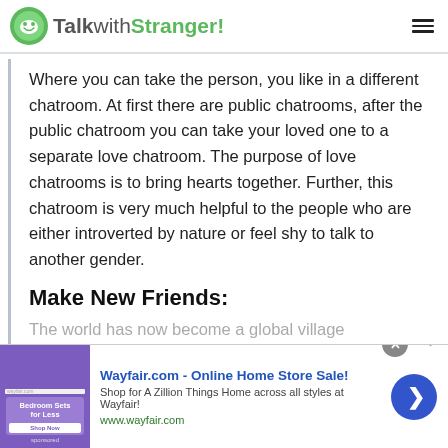TalkwithStranger!
Where you can take the person, you like in a different chatroom. At first there are public chatrooms, after the public chatroom you can take your loved one to a separate love chatroom. The purpose of love chatrooms is to bring hearts together. Further, this chatroom is very much helpful to the people who are either introverted by nature or feel shy to talk to another gender.
Make New Friends:
The world has now become a global village
[Figure (screenshot): Wayfair.com advertisement banner with close button, image of bedroom furniture, headline 'Wayfair.com - Online Home Store Sale!', subtext 'Shop for A Zillion Things Home across all styles at Wayfair!', URL www.wayfair.com, and a blue circular arrow button]